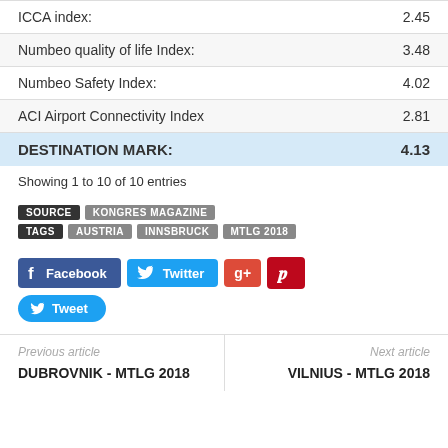| ICCA index: | 2.45 |
| Numbeo quality of life Index: | 3.48 |
| Numbeo Safety Index: | 4.02 |
| ACI Airport Connectivity Index | 2.81 |
| DESTINATION MARK: | 4.13 |
Showing 1 to 10 of 10 entries
SOURCE | KONGRES MAGAZINE
TAGS | AUSTRIA | INNSBRUCK | MTLG 2018
[Figure (other): Social sharing buttons: Facebook, Twitter, Google+, Pinterest, and Tweet]
Previous article
DUBROVNIK - MTLG 2018
Next article
VILNIUS - MTLG 2018